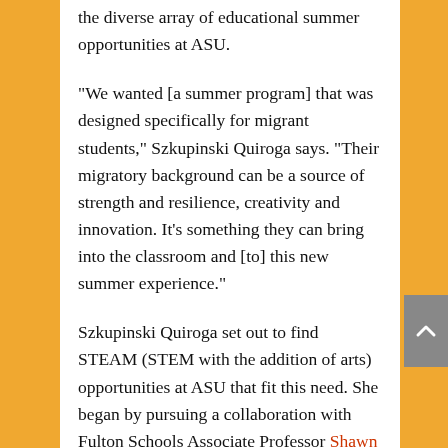the diverse array of educational summer opportunities at ASU.
“We wanted [a summer program] that was designed specifically for migrant students,” Szkupinski Quiroga says. “Their migratory background can be a source of strength and resilience, creativity and innovation. It’s something they can bring into the classroom and [to] this new summer experience.”
Szkupinski Quiroga set out to find STEAM (STEM with the addition of arts) opportunities at ASU that fit this need. She began by pursuing a collaboration with Fulton Schools Associate Professor Shawn Jordan, who had already organized outreach programs making engineering